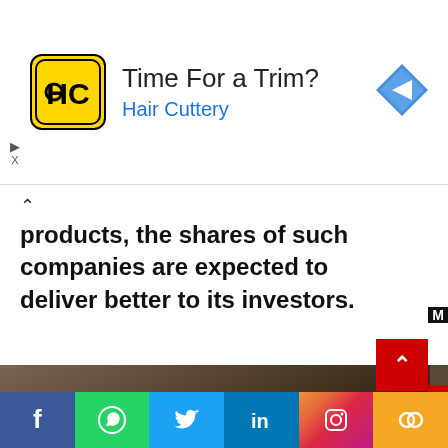[Figure (screenshot): Advertisement banner for Hair Cuttery with yellow/black HC logo icon, text 'Time For a Trim?' and 'Hair Cuttery' in blue, a blue diamond arrow icon on the right, and close/skip controls on the left.]
products, the shares of such companies are expected to deliver better to its investors.
[Figure (photo): A large collection of industrial gas cylinders densely packed together, dark and weathered, with blue labels visible. The cylinders are black/dark brown with some white/lavender coloring at the base.]
[Figure (screenshot): Social media sharing bar with Facebook, WhatsApp, Twitter, LinkedIn, Instagram, and copy-link buttons in their respective brand colors.]